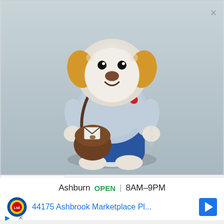[Figure (photo): A crocheted amigurumi dog toy wearing a light blue sweater, blue pants, and carrying a brown messenger bag with a white envelope inside. The toy has golden-yellow ears and white/cream body. Watermark text 'ollie+holly' visible on the right side. Background is light gray/blue.]
Ashburn  OPEN | 8AM–9PM
44175 Ashbrook Marketplace Pl...